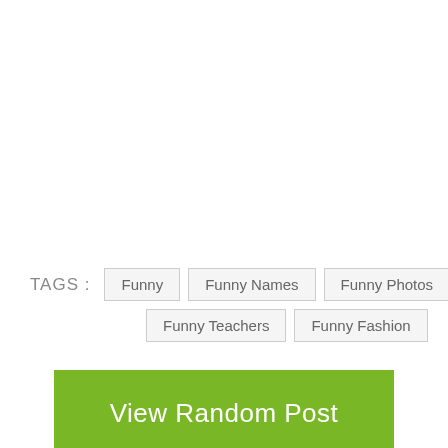TAGS :  Funny  Funny Names  Funny Photos  Funny Makeup  Funny Teachers  Funny Fashion
View Random Post